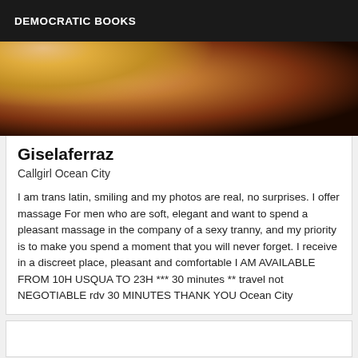DEMOCRATIC BOOKS
[Figure (photo): Close-up photo with warm brown tones and blonde hair visible, dark background]
Giselaferraz
Callgirl Ocean City
I am trans latin, smiling and my photos are real, no surprises. I offer massage For men who are soft, elegant and want to spend a pleasant massage in the company of a sexy tranny, and my priority is to make you spend a moment that you will never forget. I receive in a discreet place, pleasant and comfortable I AM AVAILABLE FROM 10H USQUA TO 23H *** 30 minutes ** travel not NEGOTIABLE rdv 30 MINUTES THANK YOU Ocean City